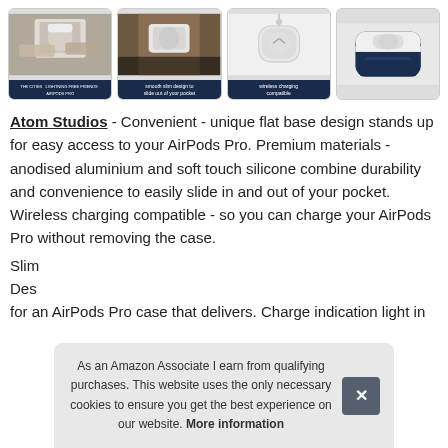[Figure (photo): Gallery of 4 product images showing AirPods Pro case: hands holding case, case sliding out of pocket with text 'smooth slim design to slide out of your pocket', wireless charging compatible image, and navy blue case photo]
Atom Studios - Convenient - unique flat base design stands up for easy access to your AirPods Pro. Premium materials - anodised aluminium and soft touch silicone combine durability and convenience to easily slide in and out of your pocket. Wireless charging compatible - so you can charge your AirPods Pro without removing the case.
Slim... Des... for an AirPods Pro case that delivers. Charge indication light in
As an Amazon Associate I earn from qualifying purchases. This website uses the only necessary cookies to ensure you get the best experience on our website. More information